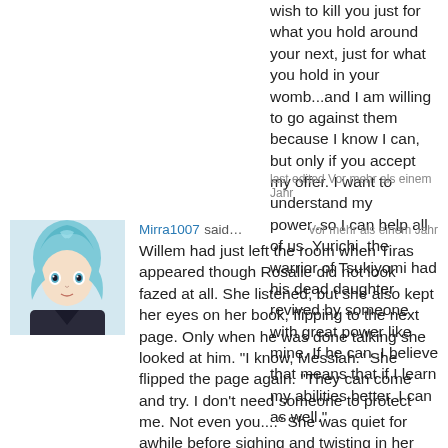wish to kill you just for what you hold around your next, just for what you hold in your womb...and I am willing to go against them because I know I can, but only if you accept my offer. I want to understand my power..so I can help all of us. Yurichi, the warrior of Tsukiyomi had his dead daughter revived by someone with great power like mine. If he can..I believe that means that if I learn my abilities better, I can as well."
last edited Vor mehr als einem Jahr
[Figure (illustration): Anime-style avatar of a character with teal/blue-streaked hair, dark clothing, artistic illustration style]
Mirra1007 said… Vor mehr als einem Jahr
Willem had just left the room when Tiras appeared though Rosalie did not look fazed at all. She listened, but she also kept her eyes on her book, flipping to the next page. Only when he was done talking she looked at him. "I know, Messiah." She flipped the page again. "They can come and try. I don't need someone to protect me. Not even you...." She was quiet for awhile before sighing and twisting in her chair to now actually face Tiras, not being able to just flip him off and make him